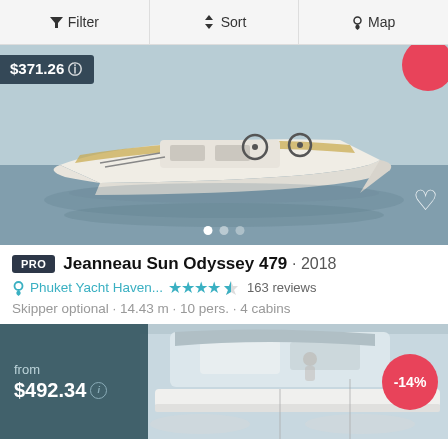Filter | Sort | Map
[Figure (photo): Sailboat listing photo showing a white sailboat on calm water. Price overlay '$371.26' top left. Carousel dots at bottom. Heart icon bottom right.]
PRO  Jeanneau Sun Odyssey 479 · 2018
Phuket Yacht Haven...  ★★★★½  163 reviews
Skipper optional • 14.43 m • 10 pers. • 4 cabins
[Figure (photo): Partial view of a catamaran listing. Price overlay 'from $492.34' on teal background left side. -14% discount badge top right.]